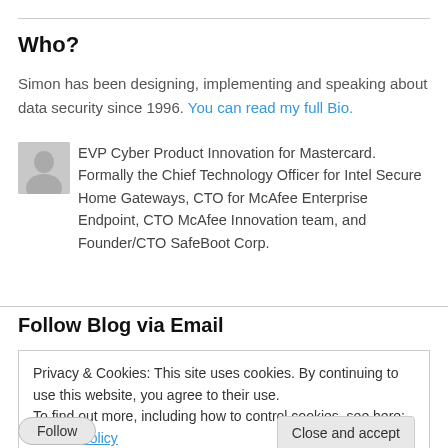Who?
Simon has been designing, implementing and speaking about data security since 1996. You can read my full Bio.
EVP Cyber Product Innovation for Mastercard. Formally the Chief Technology Officer for Intel Secure Home Gateways, CTO for McAfee Enterprise Endpoint, CTO McAfee Innovation team, and Founder/CTO SafeBoot Corp.
Follow Blog via Email
Privacy & Cookies: This site uses cookies. By continuing to use this website, you agree to their use.
To find out more, including how to control cookies, see here: Cookie Policy
Close and accept
Follow